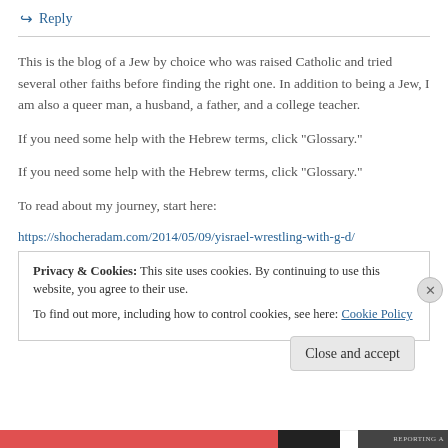↳ Reply
This is the blog of a Jew by choice who was raised Catholic and tried several other faiths before finding the right one. In addition to being a Jew, I am also a queer man, a husband, a father, and a college teacher.
If you need some help with the Hebrew terms, click "Glossary."
If you need some help with the Hebrew terms, click "Glossary."
To read about my journey, start here:
https://shocheradam.com/2014/05/09/yisrael-wrestling-with-g-d/
Privacy & Cookies: This site uses cookies. By continuing to use this website, you agree to their use.
To find out more, including how to control cookies, see here: Cookie Policy
Close and accept